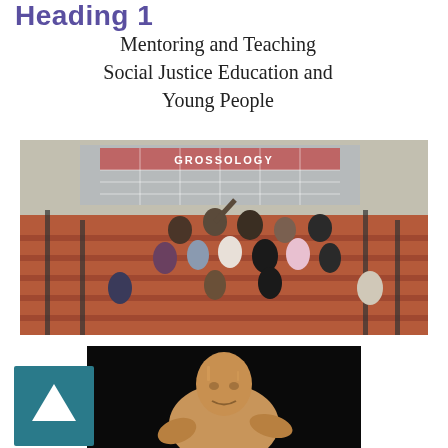Heading 1
Mentoring and Teaching Social Justice Education and Young People
[Figure (photo): Group photo of approximately 15 people posing on outdoor steps in front of a building with a sign reading 'GROSSOLOGY'. People are smiling and posing with arms raised.]
[Figure (photo): Stone or bronze sculpture/monument of a figure, likely the Martin Luther King Jr. Memorial, shown against a dark background.]
[Figure (other): Dark teal/blue square button with a white upward-pointing arrow triangle in the center.]